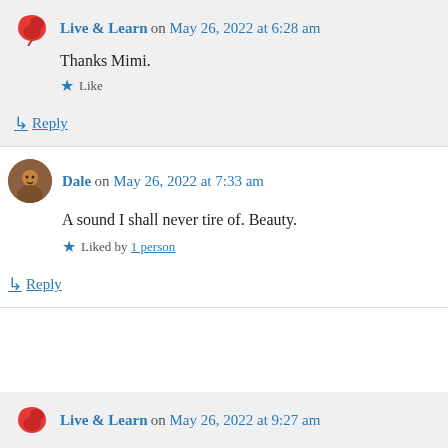Live & Learn on May 26, 2022 at 6:28 am
Thanks Mimi.
Like
↳ Reply
Dale on May 26, 2022 at 7:33 am
A sound I shall never tire of. Beauty.
Liked by 1 person
↳ Reply
Live & Learn on May 26, 2022 at 9:27 am